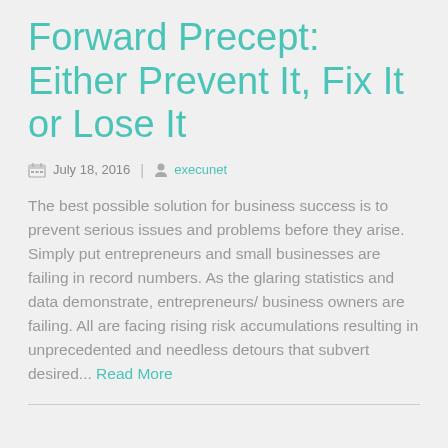Forward Precept: Either Prevent It, Fix It or Lose It
July 18, 2016  |  execunet
The best possible solution for business success is to prevent serious issues and problems before they arise. Simply put entrepreneurs and small businesses are failing in record numbers. As the glaring statistics and data demonstrate, entrepreneurs/ business owners are failing. All are facing rising risk accumulations resulting in unprecedented and needless detours that subvert desired... Read More